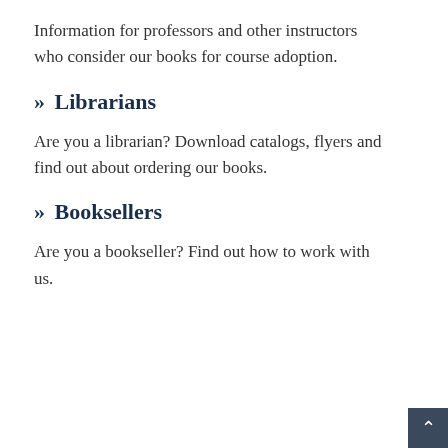Information for professors and other instructors who consider our books for course adoption.
» Librarians
Are you a librarian? Download catalogs, flyers and find out about ordering our books.
» Booksellers
Are you a bookseller? Find out how to work with us.
This website uses cookies to ensure you get the best experience. Learn more
BROWSE OUR TITLES
by Subject
Got it!
» Sociology (293)
» Philosophy (177)